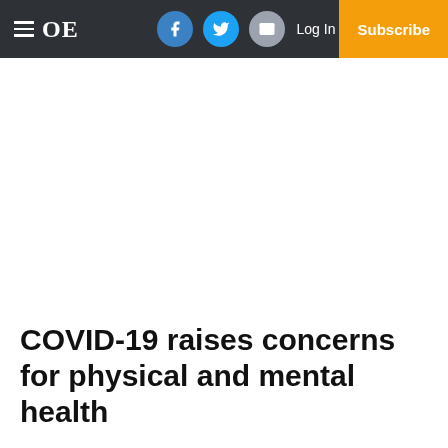≡ OE  [Facebook] [Twitter] [Email]  Log In  Subscribe
COVID-19 raises concerns for physical and mental health